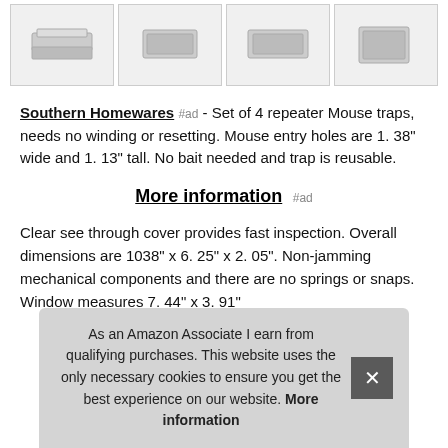[Figure (photo): Four product thumbnail images of mouse traps (silver/metallic) in a row]
Southern Homewares #ad - Set of 4 repeater Mouse traps, needs no winding or resetting. Mouse entry holes are 1. 38" wide and 1. 13" tall. No bait needed and trap is reusable.
More information #ad
Clear see through cover provides fast inspection. Overall dimensions are 1038" x 6. 25" x 2. 05". Non-jamming mechanical components and there are no springs or snaps. Window measures 7. 44" x 3. 91"
As an Amazon Associate I earn from qualifying purchases. This website uses the only necessary cookies to ensure you get the best experience on our website. More information